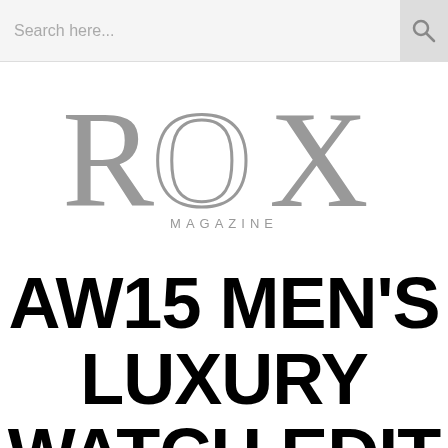Search here...
[Figure (logo): ROX Magazine logo — large serif letters 'ROX' in grey with 'MAGAZINE' in small caps below]
AW15 MEN'S LUXURY WATCH EDIT